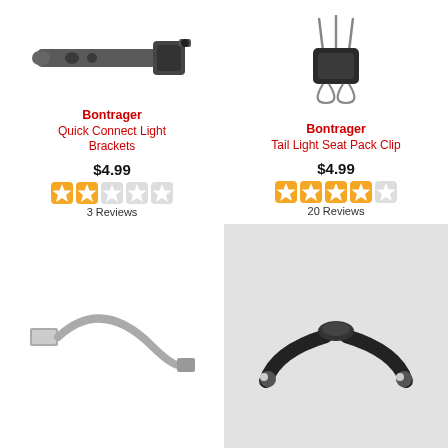[Figure (photo): Bontrager Quick Connect Light Brackets - a grey plastic bar-style bracket with mounting clip]
Bontrager
Quick Connect Light Brackets
$4.99
3 Reviews
[Figure (photo): Bontrager Tail Light Seat Pack Clip - a black plastic clip with metal wire loops]
Bontrager
Tail Light Seat Pack Clip
$4.99
20 Reviews
[Figure (photo): A grey USB cable with USB-A connector]
[Figure (photo): A black plastic Y-shaped bracket with two mounting holes]